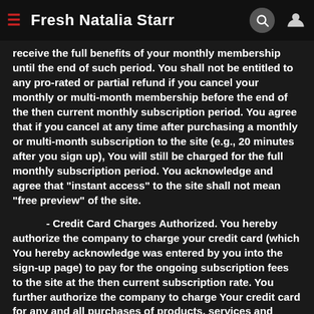Fresh Natalia Starr
receive the full benefits of your monthly membership until the end of such period. You shall not be entitled to any pro-rated or partial refund if you cancel your monthly or multi-month membership before the end of the then current monthly subscription period. You agree that if you cancel at any time after purchasing a monthly or multi-month subscription to the site (e.g., 20 minutes after you sign up), You will still be charged for the full monthly subscription period. You acknowledge and agree that "instant access" to the site shall not mean "free preview" of the site.
- Credit Card Charges Authorized. You hereby authorize the company to charge your credit card (which You hereby acknowledge was entered by you into the sign-up page) to pay for the ongoing subscription fees to the site at the then current subscription rate. You further authorize the company to charge Your credit card for any and all purchases of products, services and entertainment available through, at, in or on, or provided by the site. You agree to be personally liable for all charges incurred by you through the site.